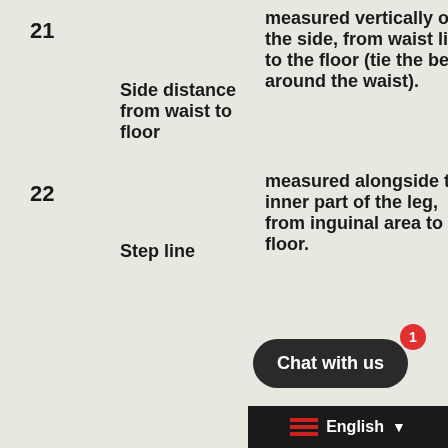| # | Name | Description |
| --- | --- | --- |
| 21 | Side distance from waist to floor | measured vertically on the side, from waist line to the floor (tie the belt around the waist). |
| 22 | Step line | measured alongside the inner part of the leg, from inguinal area to the floor. |